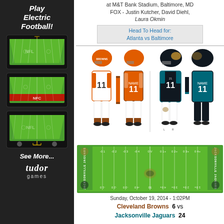[Figure (illustration): Tudor Games advertisement showing electric football game boards stacked, with text 'Play Electric Football!' and 'See More...' and Tudor Games logo]
at M&T Bank Stadium, Baltimore, MD
FOX - Justin Kutcher, David Diehl, Laura Okmin
Head To Head for: Atlanta vs Baltimore
[Figure (illustration): NFL uniforms for Cleveland Browns (white home and orange away) and Jacksonville Jaguars (black and teal), each showing front and back views with number 11]
[Figure (illustration): Jacksonville Jaguars football field diagram with yard lines and team name on sides]
Sunday, October 19, 2014 - 1:02PM
Cleveland Browns  6  vs
Jacksonville Jaguars  24